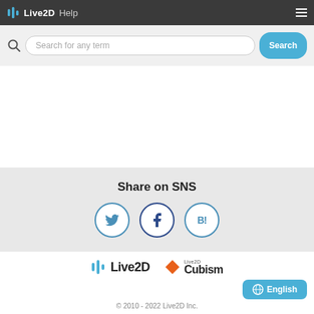Live2D Help
[Figure (screenshot): Search bar with magnifying glass icon, text input field with placeholder 'Search for any term', and a blue 'Search' button]
Share on SNS
[Figure (infographic): Three circular social media icons: Twitter (bird), Facebook (f), and Hatena Bookmark (B!)]
[Figure (logo): Live2D logo (blue icon + Live2D wordmark) and Live2D Cubism logo (orange diamond + Cubism wordmark)]
English
© 2010 - 2022 Live2D Inc.